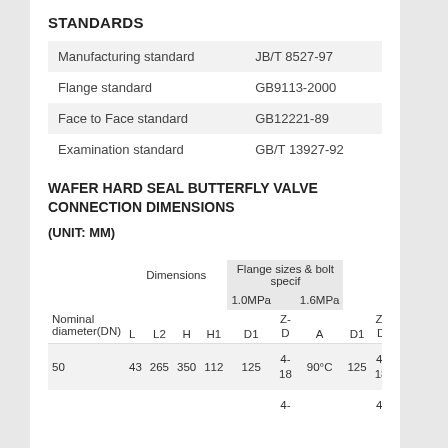STANDARDS
|  |  |
| --- | --- |
| Manufacturing standard | JB/T 8527-97 |
| Flange standard | GB9113-2000 |
| Face to Face standard | GB12221-89 |
| Examination standard | GB/T 13927-92 |
WAFER HARD SEAL BUTTERFLY VALVE CONNECTION DIMENSIONS
(UNIT: MM)
| Nominal diameter(DN) | L | L2 | H | H1 | D1 | Z-D | A | D1 | Z-D | A |
| --- | --- | --- | --- | --- | --- | --- | --- | --- | --- | --- |
| 50 | 43 | 265 | 350 | 112 | 125 | 4-18 | 90°C | 125 | 4-18 | ... |